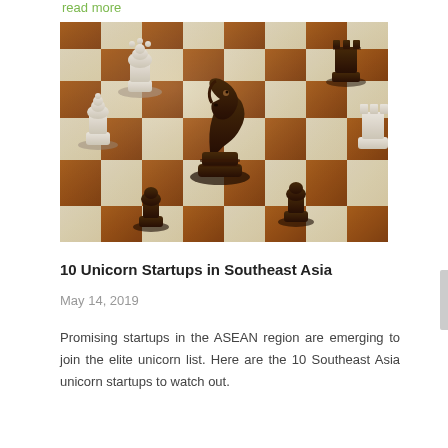read more
[Figure (photo): A chess board with wooden chess pieces — a dark knight in the center, white pieces on the left, and dark pieces on the right and foreground, on a brown and cream wooden board.]
10 Unicorn Startups in Southeast Asia
May 14, 2019
Promising startups in the ASEAN region are emerging to join the elite unicorn list. Here are the 10 Southeast Asia unicorn startups to watch out.